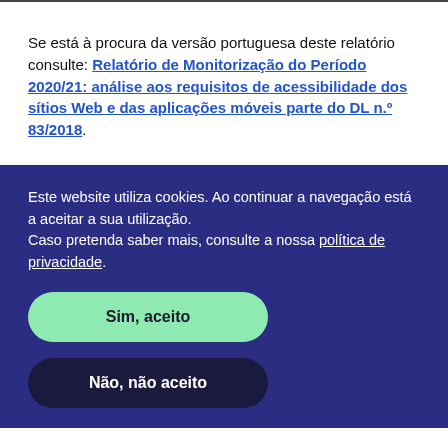Se está à procura da versão portuguesa deste relatório consulte: Relatório de Monitorização do Período 2020/21: análise aos requisitos de acessibilidade dos sítios Web e das aplicações móveis parte do DL n.º 83/2018.
Este website utiliza cookies. Ao continuar a navegação está a aceitar a sua utilização. Caso pretenda saber mais, consulte a nossa política de privacidade.
Sim, aceito
Não, não aceito